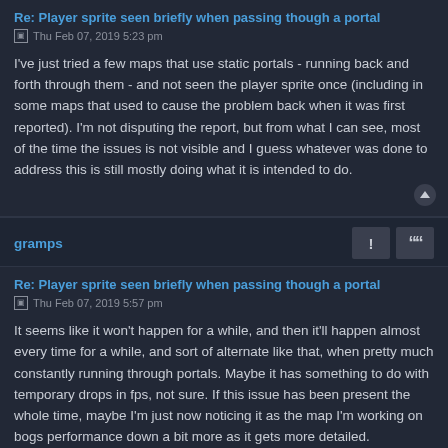Re: Player sprite seen briefly when passing though a portal
Thu Feb 07, 2019 5:23 pm
I've just tried a few maps that use static portals - running back and forth through them - and not seen the player sprite once (including in some maps that used to cause the problem back when it was first reported). I'm not disputing the report, but from what I can see, most of the time the issues is not visible and I guess whatever was done to address this is still mostly doing what it is intended to do.
gramps
Re: Player sprite seen briefly when passing though a portal
Thu Feb 07, 2019 5:57 pm
It seems like it won't happen for a while, and then it'll happen almost every time for a while, and sort of alternate like that, when pretty much constantly running through portals. Maybe it has something to do with temporary drops in fps, not sure. If this issue has been present the whole time, maybe I'm just now noticing it as the map I'm working on bogs performance down a bit more as it gets more detailed.
Anyway, it's not a huge issue. It's gone so fast that I wasn't even sure it was a player sprite until I happened to get a good look at it recently. Just